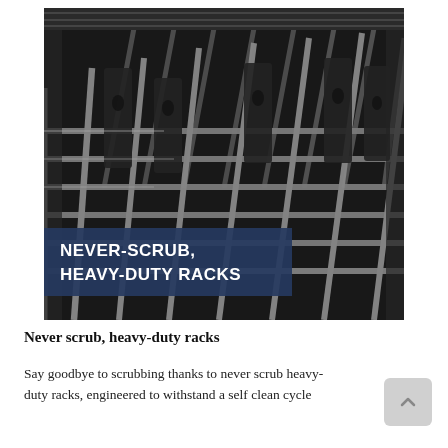[Figure (photo): Close-up photo of oven rack grates inside a dark oven interior, with a dark navy blue overlay banner reading 'NEVER-SCRUB, HEAVY-DUTY RACKS' in bold white uppercase text]
Never scrub, heavy-duty racks
Say goodbye to scrubbing thanks to never scrub heavy-duty racks, engineered to withstand a self clean cycle